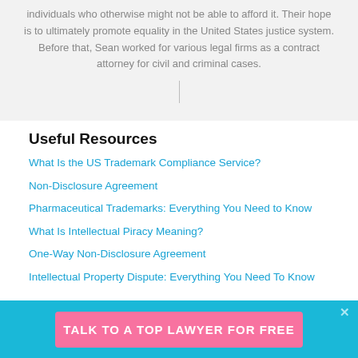individuals who otherwise might not be able to afford it. Their hope is to ultimately promote equality in the United States justice system. Before that, Sean worked for various legal firms as a contract attorney for civil and criminal cases.
Useful Resources
What Is the US Trademark Compliance Service?
Non-Disclosure Agreement
Pharmaceutical Trademarks: Everything You Need to Know
What Is Intellectual Piracy Meaning?
One-Way Non-Disclosure Agreement
Intellectual Property Dispute: Everything You Need To Know
TALK TO A TOP LAWYER FOR FREE